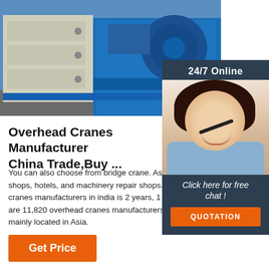[Figure (photo): Industrial blue overhead crane with drum/reel mechanism and control box on grey floor]
[Figure (photo): Customer service woman with headset, 24/7 Online support sidebar with chat and quotation button]
Overhead Cranes Manufacturers China Trade,Buy ...
You can also choose from bridge crane. As well as from material shops, hotels, and machinery repair shops. And whether overhead cranes manufacturers in india is 2 years, 1 year, or 1.5 years. There are 11,820 overhead cranes manufacturers in india suppliers, mainly located in Asia.
Get Price